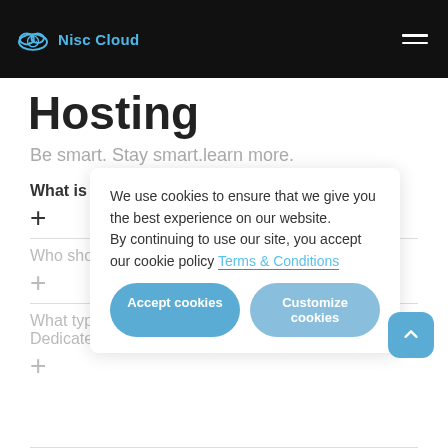Nisc Cloud
Hosting
Be smart. Stay smart.learn more.
What is a dedicated server?
+
Who should buy Dedicated Server Hosting?
+
What type of website/application should not use Dedicated Server?
+
We use cookies to ensure that we give you the best experience on our website. By continuing to use our site, you accept our cookie policy Terms & Conditions
Accept cookies    Customize cookies